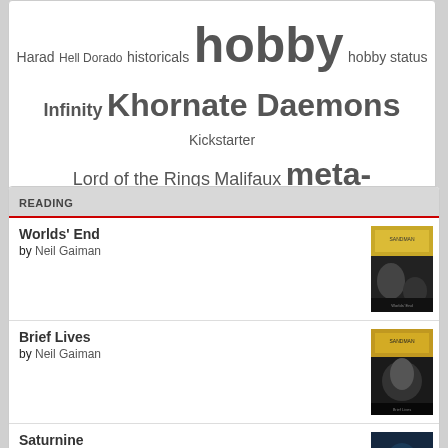[Figure (other): Tag cloud containing wargaming and hobby related terms in varying font sizes: Harad, Hell Dorado, historicals, hobby, hobby status, Infinity, Khornate Daemons, Kickstarter, Lord of the Rings, Malifaux, meta-blogging, Normans, Orks, Red Blok, review, Saga, Salzenmund, Shadespire, Skaven, Storm of Magic, Tau Empire, terrain, tournaments, Warhammer, Warhammer 40K, war of the ring, Warpstone Pile, WFRP, year in review]
READING
Worlds' End
by Neil Gaiman
[Figure (photo): Cover image of Sandman graphic novel - Worlds End, yellow/brown tones]
Brief Lives
by Neil Gaiman
[Figure (photo): Cover image of Sandman graphic novel - Brief Lives, yellow/brown tones]
Saturnine
by Dan Abnett
[Figure (photo): Cover image of Saturnine by Dan Abnett, dark blue tones]